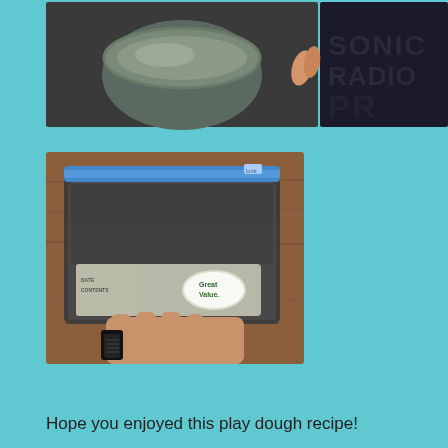[Figure (photo): Top photo strip showing two images: on the left a bowl with gray powdery substance, and on the right a person's hand holding the bowl with a t-shirt visible in the background.]
[Figure (photo): A hand holding a clear plastic ziplock bag (Great Value brand) filled with dark gray powder or play dough, resting on a wooden table. The person is wearing a black watch.]
Hope you enjoyed this play dough recipe!